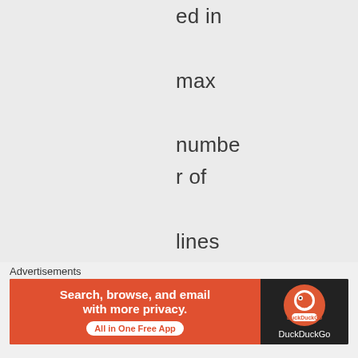ed in max number of lines calculation, so won't overflow its space.
Like
Advertisements
[Figure (other): DuckDuckGo advertisement banner: 'Search, browse, and email with more privacy. All in One Free App' with DuckDuckGo logo on dark background]